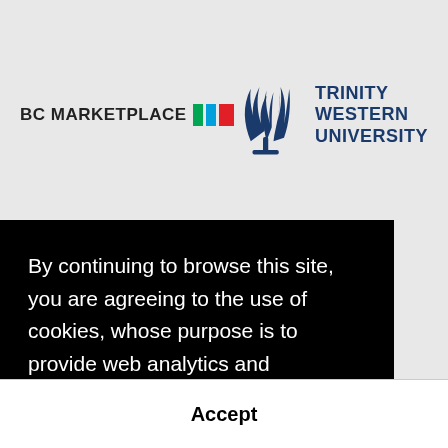[Figure (logo): BC Marketplace logo with colored bar graphic (green, blue, red bars)]
[Figure (logo): Trinity Western University logo with stylized flame/wheat symbol and bold navy text]
By continuing to browse this site, you are agreeing to the use of cookies, whose purpose is to provide web analytics and measurements of visitor traffic and browsing behavior, define personalized services and offers tailored to your interests, and share data with, or redirect users from, third-party websites.  Learn More
Accept